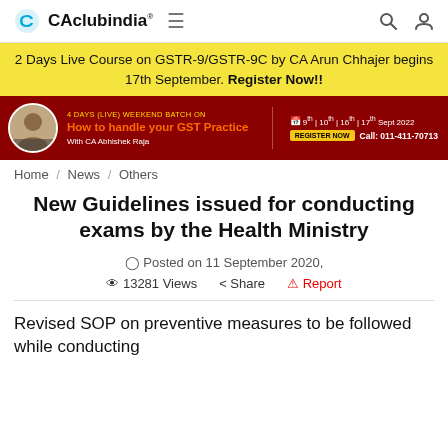CAclubindia®
[Figure (infographic): Yellow promotional banner: 2 Days Live Course on GSTR-9/GSTR-9C by CA Arun Chhajer begins 17th September. Register Now!!]
[Figure (infographic): Red banner ad: 4 DAYS (LIVE) WEEKEND BATCH ON How to handle your GST Practice with CA Abhishek Raja. 9th | 10th | 16th | 17th Sept 2022. REGISTER NOW. Call: 011-411-70713]
Home / News / Others
New Guidelines issued for conducting exams by the Health Ministry
Posted on 11 September 2020,
13281 Views   Share   Report
Revised SOP on preventive measures to be followed while conducting...